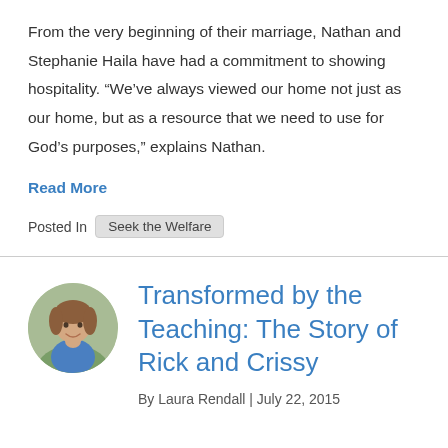From the very beginning of their marriage, Nathan and Stephanie Haila have had a commitment to showing hospitality. “We’ve always viewed our home not just as our home, but as a resource that we need to use for God’s purposes,” explains Nathan.
Read More
Posted In  Seek the Welfare
Transformed by the Teaching: The Story of Rick and Crissy
By Laura Rendall | July 22, 2015